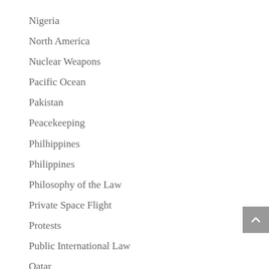Nigeria
North America
Nuclear Weapons
Pacific Ocean
Pakistan
Peacekeeping
Philhippines
Philippines
Philosophy of the Law
Private Space Flight
Protests
Public International Law
Qatar
Refugee Law and Policy
Russia